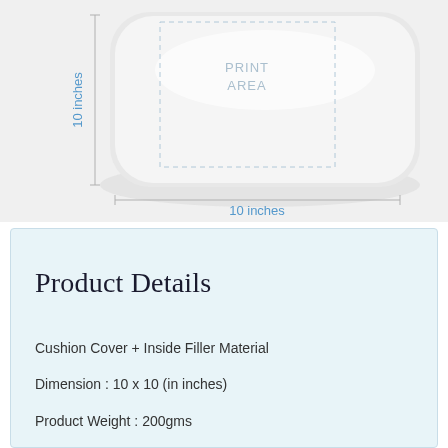[Figure (illustration): Product mockup of a white cushion/pillow with dimension annotations showing 10 inches width and 10 inches height, with a dashed rectangle marking the print area labeled 'PRINT AREA' in light gray text.]
Product Details
Cushion Cover + Inside Filler Material
Dimension : 10 x 10 (in inches)
Product Weight : 200gms